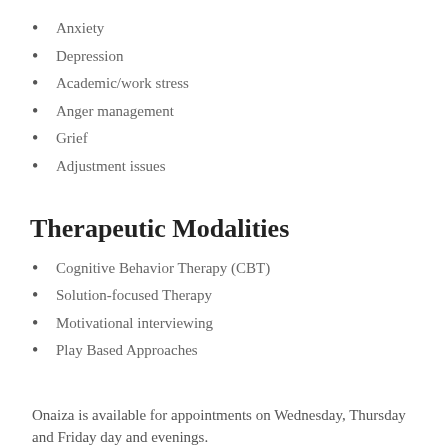Anxiety
Depression
Academic/work stress
Anger management
Grief
Adjustment issues
Therapeutic Modalities
Cognitive Behavior Therapy (CBT)
Solution-focused Therapy
Motivational interviewing
Play Based Approaches
Onaiza is available for appointments on Wednesday, Thursday and Friday day and evenings.